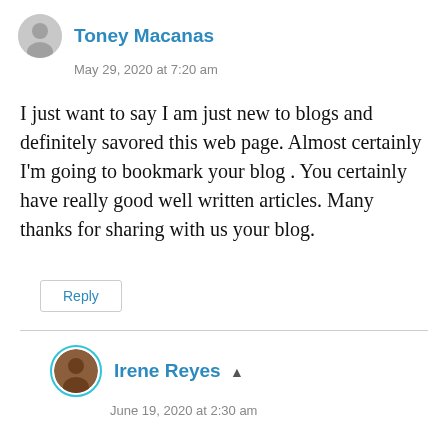Toney Macanas
May 29, 2020 at 7:20 am
I just want to say I am just new to blogs and definitely savored this web page. Almost certainly I'm going to bookmark your blog . You certainly have really good well written articles. Many thanks for sharing with us your blog.
Reply
Irene Reyes
June 19, 2020 at 2:30 am